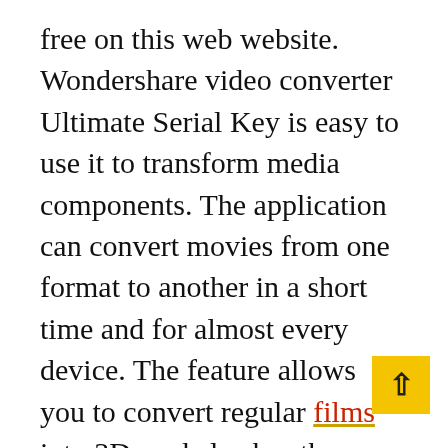free on this web website. Wondershare video converter Ultimate Serial Key is easy to use it to transform media components. The application can convert movies from one format to another in a short time and for almost every device. The feature allows you to convert regular films into 3D, and also has the capability to create videos that are all-measured using any type of energy. It allows the ability to download videos from U-Tube. Wondershare Video Converter Ultimate 13 Crack Latest Version is recognized for its higher speed, which can be up to forty times greater than other alternatives. It has more features for video that satisfy nearly all current demands